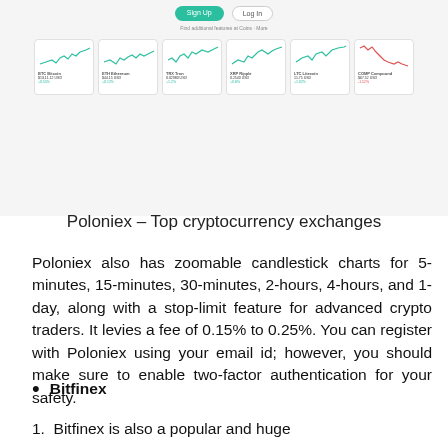[Figure (screenshot): Screenshot of Poloniex cryptocurrency exchange website showing Sign Up and Log In buttons, a tagline, and six coin cards (BTC, ETH, TRX, XRP, LTC, COMP) each with a small line chart, coin name, price in USD, and percentage change.]
Poloniex – Top cryptocurrency exchanges
Poloniex also has zoomable candlestick charts for 5-minutes, 15-minutes, 30-minutes, 2-hours, 4-hours, and 1-day, along with a stop-limit feature for advanced crypto traders. It levies a fee of 0.15% to 0.25%. You can register with Poloniex using your email id; however, you should make sure to enable two-factor authentication for your safety.
Bitfinex
Bitfinex is also a popular and huge